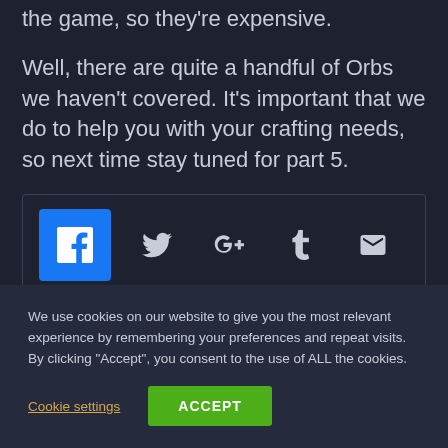the game, so they're expensive.
Well, there are quite a handful of Orbs we haven't covered. It's important that we do to help you with your crafting needs, so next time stay tuned for part 5.
[Figure (infographic): Social sharing bar with Facebook (blue button), Twitter, Google+, Tumblr, and Email icons]
We use cookies on our website to give you the most relevant experience by remembering your preferences and repeat visits. By clicking "Accept", you consent to the use of ALL the cookies.
Cookie settings   ACCEPT